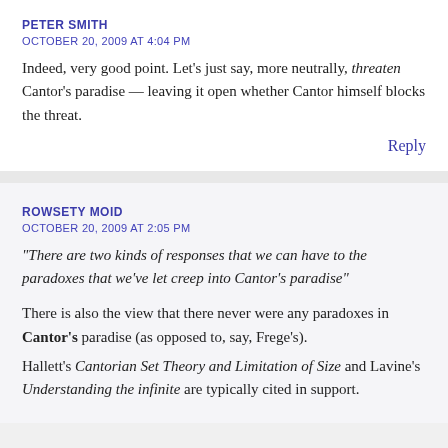PETER SMITH
OCTOBER 20, 2009 AT 4:04 PM
Indeed, very good point. Let's just say, more neutrally, threaten Cantor's paradise — leaving it open whether Cantor himself blocks the threat.
Reply
ROWSETY MOID
OCTOBER 20, 2009 AT 2:05 PM
"There are two kinds of responses that we can have to the paradoxes that we've let creep into Cantor's paradise"
There is also the view that there never were any paradoxes in Cantor's paradise (as opposed to, say, Frege's).
Hallett's Cantorian Set Theory and Limitation of Size and Lavine's Understanding the infinite are typically cited in support.